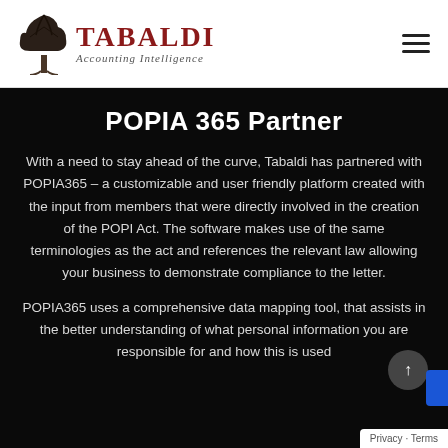[Figure (logo): Tabaldi Accounting Intelligence logo with tree illustration and red brand name]
POPIA 365 Partner
With a need to stay ahead of the curve, Tabaldi has partnered with POPIA365 – a customizable and user friendly platform created with the input from members that were directly involved in the creation of the POPI Act. The software makes use of the same terminologies as the act and references the relevant law allowing your business to demonstrate compliance to the letter.
POPIA365 uses a comprehensive data mapping tool, that assists in the better understanding of what personal information you are responsible for and how this is used